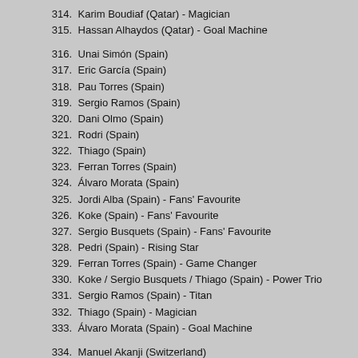314. Karim Boudiaf (Qatar)  -  Magician
315. Hassan Alhaydos (Qatar)  -  Goal Machine
316. Unai Simón (Spain)
317. Eric García (Spain)
318. Pau Torres (Spain)
319. Sergio Ramos (Spain)
320. Dani Olmo (Spain)
321. Rodri (Spain)
322. Thiago (Spain)
323. Ferran Torres (Spain)
324. Álvaro Morata (Spain)
325. Jordi Alba (Spain)  -  Fans' Favourite
326. Koke (Spain)  -  Fans' Favourite
327. Sergio Busquets (Spain)  -  Fans' Favourite
328. Pedri (Spain)  -  Rising Star
329. Ferran Torres (Spain)  -  Game Changer
330. Koke / Sergio Busquets / Thiago (Spain)  -  Power Trio
331. Sergio Ramos (Spain)  -  Titan
332. Thiago (Spain)  -  Magician
333. Álvaro Morata (Spain)  -  Goal Machine
334. Manuel Akanji (Switzerland)
335. Nico Elvedi (Switzerland)
336. Silvan Widmer (Switzerland)
337. Remo Freuler (Switzerland)
338. Xherdan Shaqiri (Switzerland)